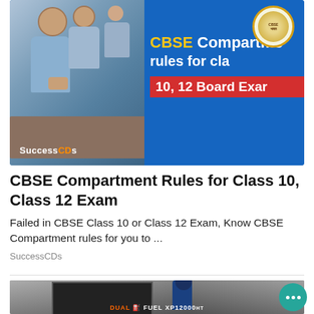[Figure (screenshot): CBSE Compartment rules thumbnail with student writing at desk, CBSE logo, blue background with text overlay showing 'CBSE Compartment rules for class 10, 12 Board Exam' and SuccessCDs branding]
CBSE Compartment Rules for Class 10, Class 12 Exam
Failed in CBSE Class 10 or Class 12 Exam, Know CBSE Compartment rules for you to ...
SuccessCDs
[Figure (photo): Person in winter clothing outside near a generator, text at bottom reads DUAL FUEL XP12000HT]